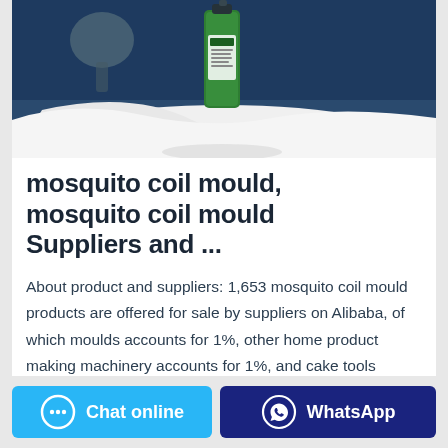[Figure (photo): Product photo showing a green spray bottle/can on a white cloth on a dark blue surface, with a lamp in the background]
mosquito coil mould, mosquito coil mould Suppliers and ...
About product and suppliers: 1,653 mosquito coil mould products are offered for sale by suppliers on Alibaba, of which moulds accounts for 1%, other home product making machinery accounts for 1%, and cake tools accounts for 1%.
Chat online
WhatsApp